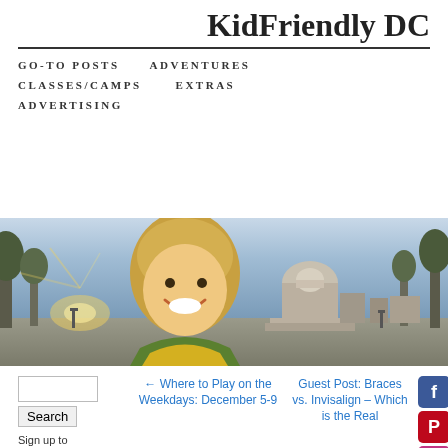KidFriendly DC
GO-TO POSTS   ADVENTURES   CLASSES/CAMPS   EXTRAS   ADVERTISING
[Figure (photo): A smiling young child with blond hair in front of the US Capitol building at sunset]
← Where to Play on the Weekdays: December 5-9
Guest Post: Braces vs. Invisalign – Which is the Real
Sign up to receive KFDC